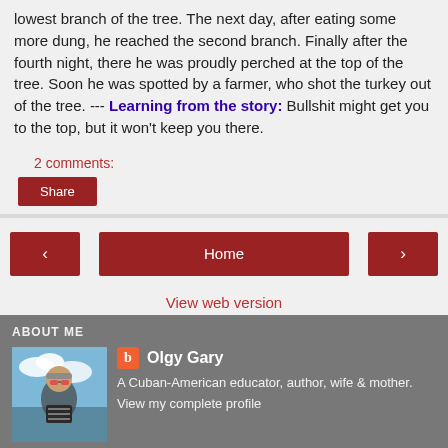lowest branch of the tree. The next day, after eating some more dung, he reached the second branch. Finally after the fourth night, there he was proudly perched at the top of the tree. Soon he was spotted by a farmer, who shot the turkey out of the tree. --- Learning from the story: Bullshit might get you to the top, but it won't keep you there.
2 comments:
Share
Home
View web version
ABOUT ME
Olgy Gary
A Cuban-American educator, author, wife & mother.
View my complete profile
Powered by Blogger.